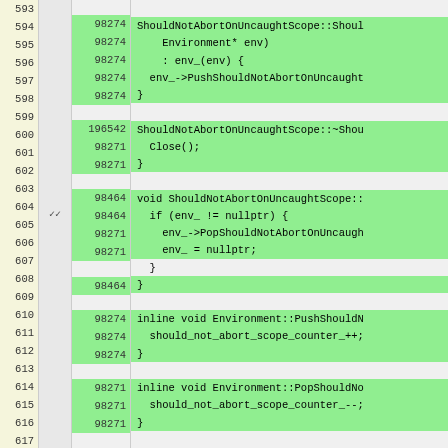[Figure (screenshot): Code coverage viewer showing C++ source lines 593-619 with line numbers, coverage tick marks, hit counts, and highlighted code. Green lines indicate covered code. Lines include ShouldNotAbortOnUncaughtScope class methods and inline Environment methods.]